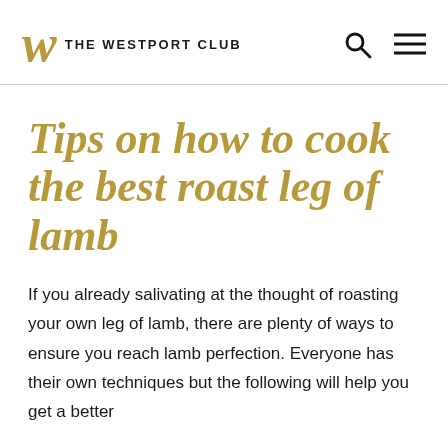W THE WESTPORT CLUB
Tips on how to cook the best roast leg of lamb
If you already salivating at the thought of roasting your own leg of lamb, there are plenty of ways to ensure you reach lamb perfection. Everyone has their own techniques but the following will help you get a better